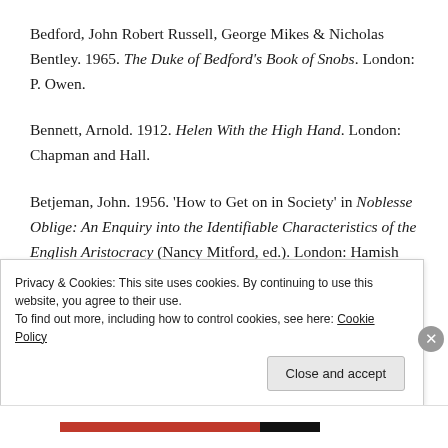Bedford, John Robert Russell, George Mikes & Nicholas Bentley. 1965. The Duke of Bedford's Book of Snobs. London: P. Owen.
Bennett, Arnold. 1912. Helen With the High Hand. London: Chapman and Hall.
Betjeman, John. 1956. 'How to Get on in Society' in Noblesse Oblige: An Enquiry into the Identifiable Characteristics of the English Aristocracy (Nancy Mitford, ed.). London: Hamish Hamilton.
Privacy & Cookies: This site uses cookies. By continuing to use this website, you agree to their use. To find out more, including how to control cookies, see here: Cookie Policy